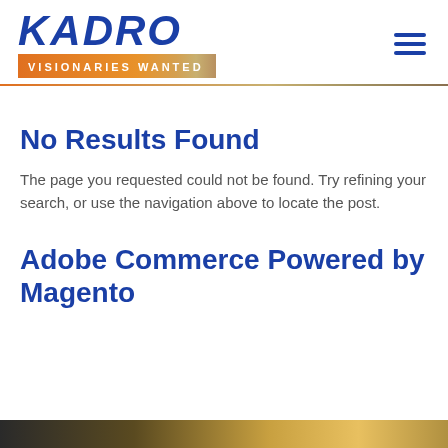KADRO VISIONARIES WANTED
No Results Found
The page you requested could not be found. Try refining your search, or use the navigation above to locate the post.
Adobe Commerce Powered by Magento
[Figure (photo): Partial image strip visible at the bottom of the page, showing a dark and golden gradient scene.]